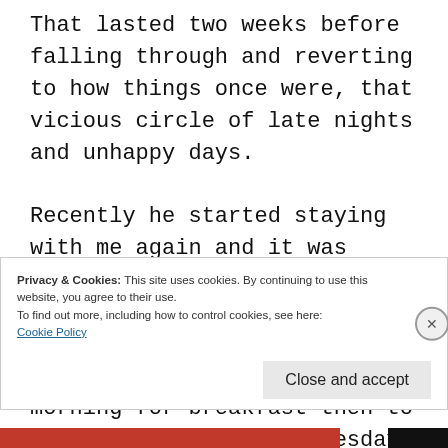That lasted two weeks before falling through and reverting to how things once were, that vicious circle of late nights and unhappy days.

Recently he started staying with me again and it was working well. He'd stay, it would get to 8pm and it was bedtime. Bed without issues, without complaints, up in the morning for breakfast then to school. Sorted. Last Tuesday he was due to stay and at the last-minute he
Privacy & Cookies: This site uses cookies. By continuing to use this website, you agree to their use.
To find out more, including how to control cookies, see here: Cookie Policy
Close and accept